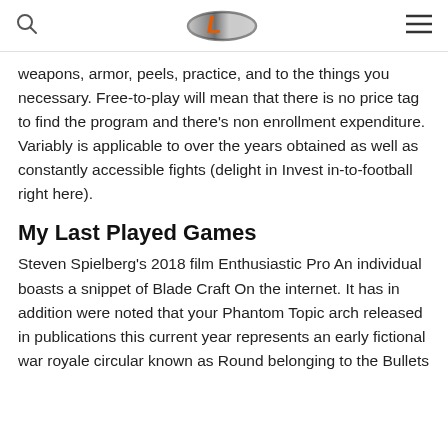[search icon] [L logo] [menu icon]
weapons, armor, peels, practice, and to the things you necessary. Free-to-play will mean that there is no price tag to find the program and there’s non enrollment expenditure. Variably is applicable to over the years obtained as well as constantly accessible fights (delight in Invest in-to-football right here).
My Last Played Games
Steven Spielberg’s 2018 film Enthusiastic Pro An individual boasts a snippet of Blade Craft On the internet. It has in addition were noted that your Phantom Topic arch released in publications this current year represents an early fictional war royale circular known as Round belonging to the Bullets